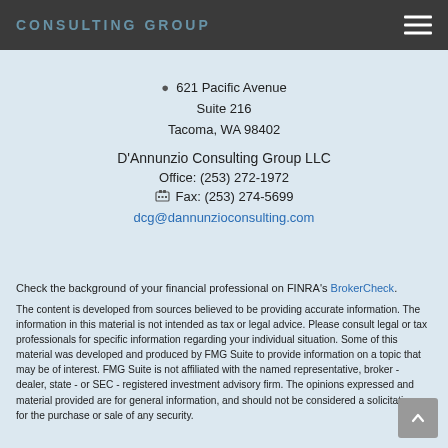D'Annunzio Consulting Group (navigation bar with hamburger menu)
621 Pacific Avenue
Suite 216
Tacoma, WA 98402
D'Annunzio Consulting Group LLC
Office: (253) 272-1972
Fax: (253) 274-5699
dcg@dannunzioconsulting.com
Check the background of your financial professional on FINRA's BrokerCheck.
The content is developed from sources believed to be providing accurate information. The information in this material is not intended as tax or legal advice. Please consult legal or tax professionals for specific information regarding your individual situation. Some of this material was developed and produced by FMG Suite to provide information on a topic that may be of interest. FMG Suite is not affiliated with the named representative, broker - dealer, state - or SEC - registered investment advisory firm. The opinions expressed and material provided are for general information, and should not be considered a solicitation for the purchase or sale of any security.